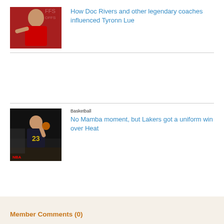[Figure (photo): Coach in red shirt at NBA Playoffs sideline]
How Doc Rivers and other legendary coaches influenced Tyronn Lue
[Figure (photo): LeBron James in Lakers uniform dribbling during NBA Finals]
Basketball
No Mamba moment, but Lakers got a uniform win over Heat
Member Comments (0)